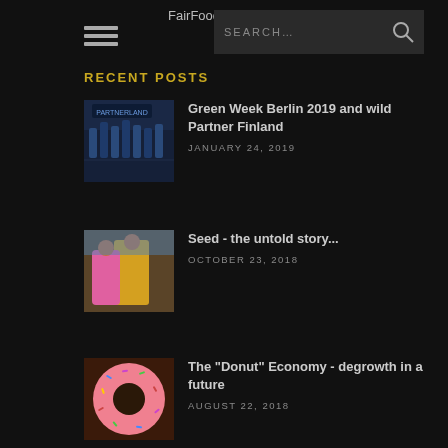FairFood4u.de
RECENT POSTS
[Figure (photo): Thumbnail image for Green Week Berlin 2019 post, showing performers in blue costumes on stage]
Green Week Berlin 2019 and wild Partner Finland
JANUARY 24, 2019
[Figure (photo): Thumbnail image for Seed post, showing women in colorful dresses]
Seed - the untold story...
OCTOBER 23, 2018
[Figure (photo): Thumbnail image for Donut Economy post, showing a pink donut with sprinkles]
The "Donut" Economy - degrowth in a future
AUGUST 22, 2018